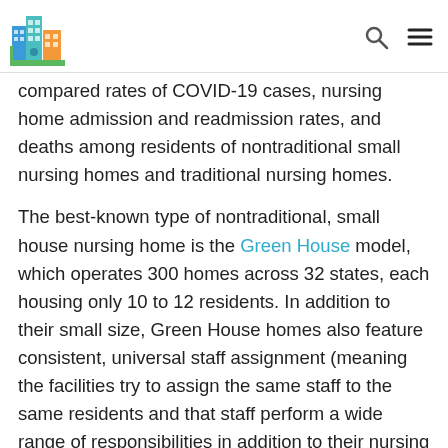[Logo: building icon] [search icon] [menu icon]
compared rates of COVID-19 cases, nursing home admission and readmission rates, and deaths among residents of nontraditional small nursing homes and traditional nursing homes.
The best-known type of nontraditional, small house nursing home is the Green House model, which operates 300 homes across 32 states, each housing only 10 to 12 residents. In addition to their small size, Green House homes also feature consistent, universal staff assignment (meaning the facilities try to assign the same staff to the same residents and that staff perform a wide range of responsibilities in addition to their nursing role, like cleaning and cooking), private